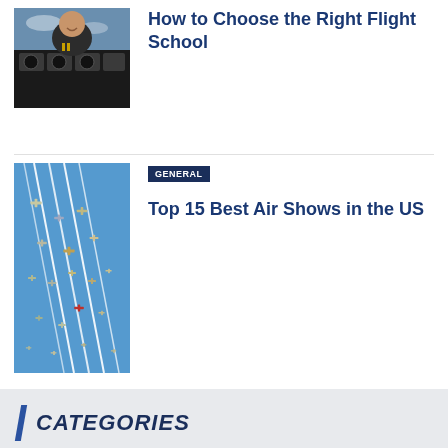How to Choose the Right Flight School
[Figure (photo): Pilot in cockpit smiling]
[Figure (photo): Aerial formation of many small airplanes with contrails in blue sky]
GENERAL
Top 15 Best Air Shows in the US
CATEGORIES
Airplanes
Helicopters
Private Jets
Flight Training